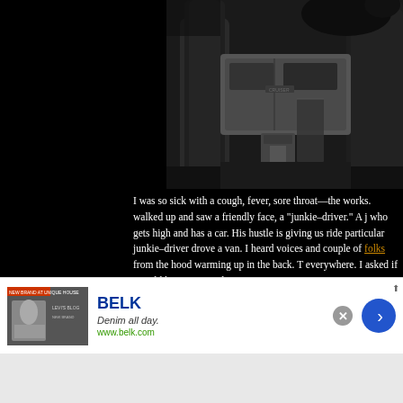[Figure (photo): Black and white photograph showing a van parked between large tree trunks with camping gear visible on the ground]
I was so sick with a cough, fever, sore throat—the works. walked up and saw a friendly face, a "junkie–driver." A j who gets high and has a car. His hustle is giving us ride particular junkie–driver drove a van. I heard voices and couple of folks from the hood warming up in the back. T everywhere. I asked if I could have one as I let out a co
[Figure (screenshot): Advertisement banner for BELK department store. Shows brand name BELK in blue, tagline 'Denim all day.' in italic, URL www.belk.com in green, with a thumbnail image on the left and a blue arrow button on the right. Close button (X) visible at top right.]